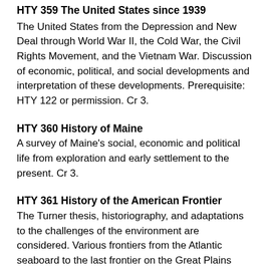HTY 359 The United States since 1939
The United States from the Depression and New Deal through World War II, the Cold War, the Civil Rights Movement, and the Vietnam War. Discussion of economic, political, and social developments and interpretation of these developments. Prerequisite: HTY 122 or permission. Cr 3.
HTY 360 History of Maine
A survey of Maine's social, economic and political life from exploration and early settlement to the present. Cr 3.
HTY 361 History of the American Frontier
The Turner thesis, historiography, and adaptations to the challenges of the environment are considered. Various frontiers from the Atlantic seaboard to the last frontier on the Great Plains